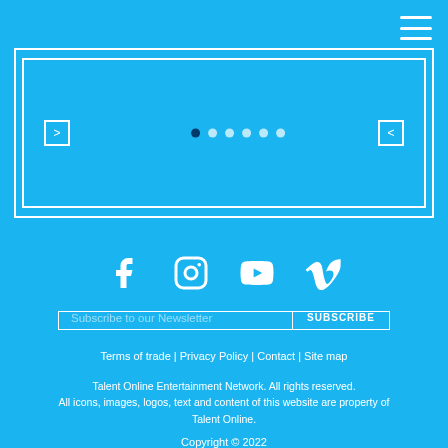[Figure (screenshot): Blue website header area with hamburger menu icon in top right, slider/carousel component with left and right arrow buttons, navigation dots (6 dots), and a nested blue rectangle]
[Figure (infographic): Social media icons row: Facebook, Instagram, YouTube, Vimeo - all white on blue background]
Subscribe to our Newsletter
SUBSCRIBE
Terms of trade | Privacy Policy | Contact | Site map
Talent Online Entertainment Network. All rights reserved. All icons, images, logos, text and content of this website are property of Talent Online.
Copyright © 2022